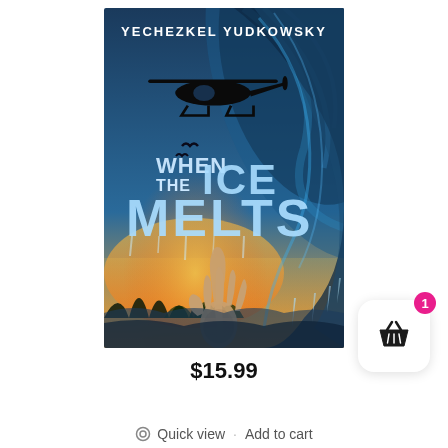[Figure (illustration): Book cover for 'When the Ice Melts' by Yechezkel Yudkowsky. The cover features a dramatic scene with a large crashing wave, a helicopter silhouette in the upper portion, a reaching hand at the bottom foreground, birds in flight, and a sunset/sunrise behind trees. The title 'WHEN THE ICE MELTS' is displayed in large icy/frozen lettering in the center, with the author name 'YECHEZKEL YUDKOWSKY' at the top.]
$15.99
Quick view   Add to cart